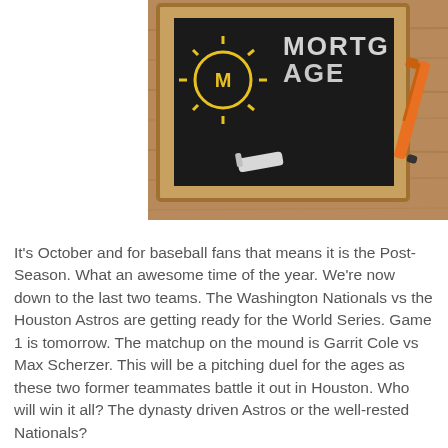[Figure (photo): A chalkboard with 'MORTGA...' written in chalk, featuring a sun drawing with an 'M' in the center in yellow chalk, a piece of white chalk resting on the board, and an orange pen/marker beside it, all on a wooden-framed chalkboard placed on a wooden surface.]
It's October and for baseball fans that means it is the Post-Season.  What an awesome time of the year.  We're now down to the last two teams.  The Washington Nationals vs the Houston Astros are getting ready for the World Series.  Game 1 is tomorrow.  The matchup on the mound is Garrit Cole vs Max Scherzer.  This will be a pitching duel for the ages as these two former teammates battle it out in Houston.  Who will win it all?  The dynasty driven Astros or the well-rested Nationals?